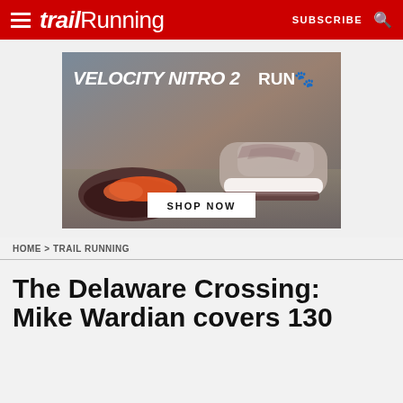Trail Running — SUBSCRIBE
[Figure (photo): Advertisement for PUMA Velocity Nitro 2 running shoe. Shows two shoes (sole and side view) on a stone surface with blurred outdoor background. Text reads 'VELOCITY NITRO 2', 'RUN' with Puma logo, and a white button 'SHOP NOW'.]
HOME > TRAIL RUNNING
The Delaware Crossing: Mike Wardian covers 130